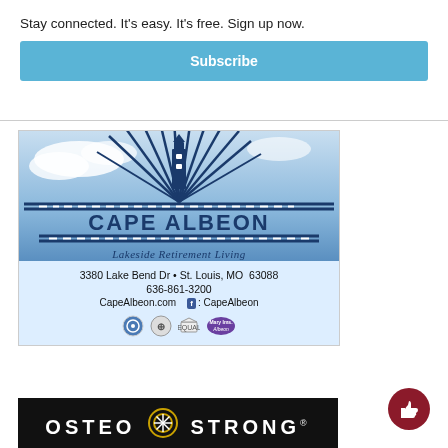Stay connected. It's easy. It's free. Sign up now.
Subscribe
[Figure (logo): Cape Albeon Lakeside Retirement Living advertisement with lighthouse logo, blue sky background, address 3380 Lake Bend Dr, St. Louis, MO 63088, phone 636-861-3200, website CapeAlbeon.com, Facebook: CapeAlbeon, and certification icons]
[Figure (logo): OsteoStrong logo on black background with circular compass-like symbol between OSTEO and STRONG text]